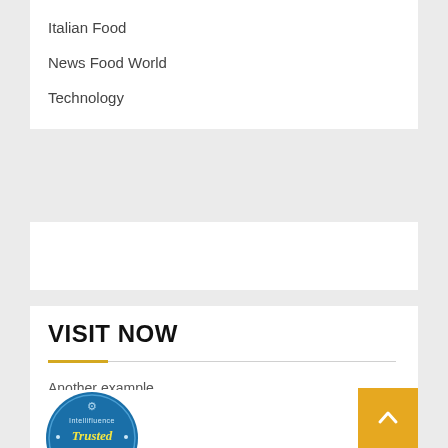Italian Food
News Food World
Technology
VISIT NOW
Another example
[Figure (logo): Intellifluence Trusted Blogger badge - circular blue badge with golden ribbon banner]